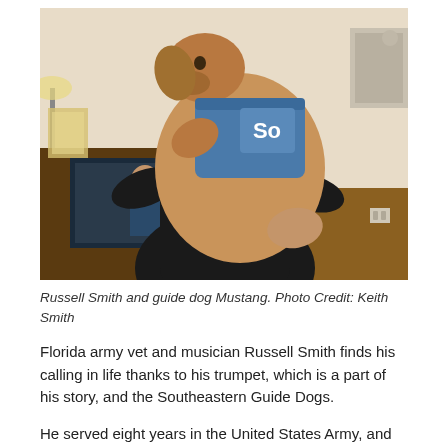[Figure (photo): A man holding a large tan/golden dog wearing a blue service vest. The man is wearing a black shirt and hugging the dog tightly. A television is visible in the background showing a person, along with furniture in what appears to be a hotel room.]
Russell Smith and guide dog Mustang. Photo Credit: Keith Smith
Florida army vet and musician Russell Smith finds his calling in life thanks to his trumpet, which is a part of his story, and the Southeastern Guide Dogs.
He served eight years in the United States Army, and he